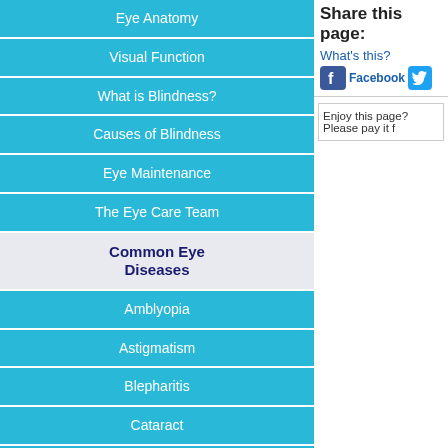Eye Anatomy
Visual Function
What is Blindness?
Causes of Blindness
Eye Maintenance
The Eye Care Team
Common Eye Diseases
Amblyopia
Astigmatism
Blepharitis
Cataract
Diabetic Retinopathy
Dry Eye Syndrome
Endophthalmitis
Flashes & Floaters
Glaucoma
Herpetic Eye Disease
Share this page:
What's this?
Facebook
Enjoy this page? Please pay it f